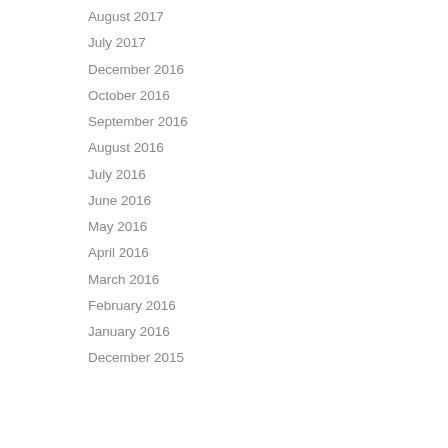August 2017
July 2017
December 2016
October 2016
September 2016
August 2016
July 2016
June 2016
May 2016
April 2016
March 2016
February 2016
January 2016
December 2015